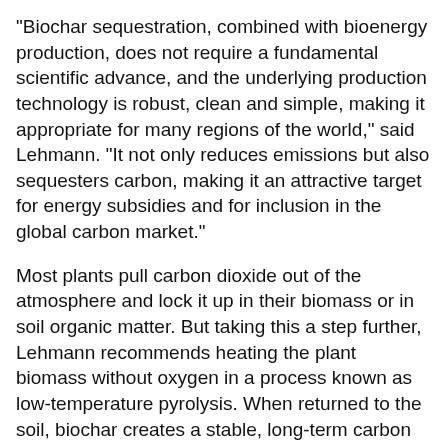"Biochar sequestration, combined with bioenergy production, does not require a fundamental scientific advance, and the underlying production technology is robust, clean and simple, making it appropriate for many regions of the world," said Lehmann. "It not only reduces emissions but also sequesters carbon, making it an attractive target for energy subsidies and for inclusion in the global carbon market."
Most plants pull carbon dioxide out of the atmosphere and lock it up in their biomass or in soil organic matter. But taking this a step further, Lehmann recommends heating the plant biomass without oxygen in a process known as low-temperature pyrolysis. When returned to the soil, biochar creates a stable, long-term carbon sink.
"Biochar also has been shown to improve the structure and fertility of soils, to enhance the retention and efficiency of fertilizers as well as to improve the productivity of soil," said Lehmann.
Capturing the exhaust gases from the pyrolysis process produces energy in such forms as heat, electricity, bio-oil or